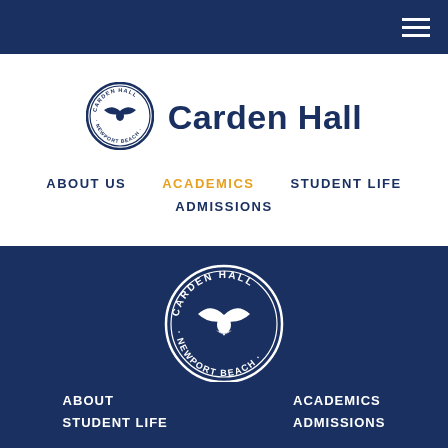[Figure (logo): Carden Hall Newport Beach circular seal logo (small, color) with seagull and text]
Carden Hall
ABOUT US
ACADEMICS
STUDENT LIFE
ADMISSIONS
[Figure (logo): Carden Hall Newport Beach circular seal logo (large, white on blue) with seagull and text]
Timeless Truths and Treasured Values for Today's Learners
ABOUT
STUDENT LIFE
ACADEMICS
ADMISSIONS